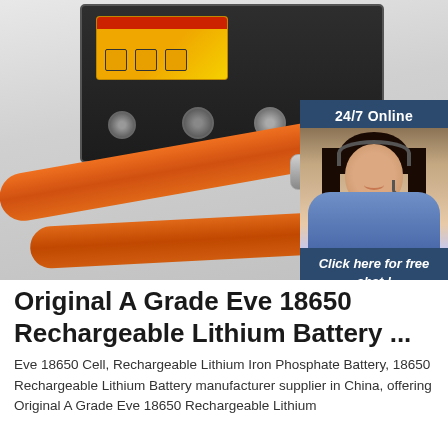[Figure (photo): Photo of a black industrial battery pack/power unit with orange cables and metal connectors on white background, overlaid with a 24/7 online chat widget showing a woman with headset]
Original A Grade Eve 18650 Rechargeable Lithium Battery ...
Eve 18650 Cell, Rechargeable Lithium Iron Phosphate Battery, 18650 Rechargeable Lithium Battery manufacturer supplier in China, offering Original A Grade Eve 18650 Rechargeable Lithium